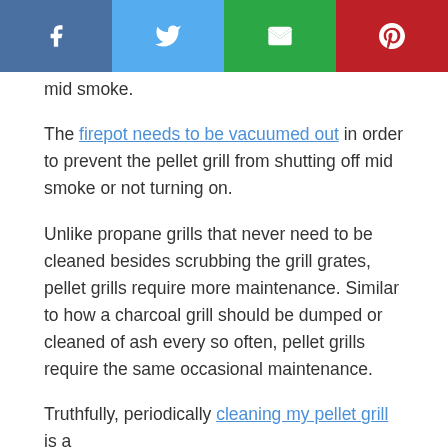[Figure (other): Social share bar with Facebook, Twitter, Email, and Pinterest buttons]
mid smoke.
The firepot needs to be vacuumed out in order to prevent the pellet grill from shutting off mid smoke or not turning on.
Unlike propane grills that never need to be cleaned besides scrubbing the grill grates, pellet grills require more maintenance. Similar to how a charcoal grill should be dumped or cleaned of ash every so often, pellet grills require the same occasional maintenance.
Truthfully, periodically cleaning my pellet grill is a